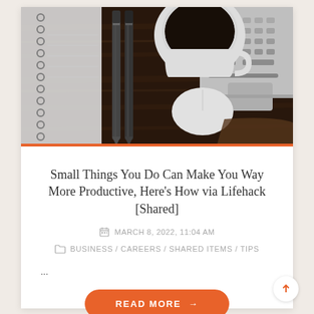[Figure (photo): Overhead flat lay photo of a wooden desk with two metal pens/styluses, a white Apple Magic Mouse, a white coffee mug filled with black coffee, a spiral notebook on the left edge, and a MacBook laptop keyboard on the upper right.]
Small Things You Do Can Make You Way More Productive, Here’s How via Lifehack [Shared]
MARCH 8, 2022, 11:04 AM
BUSINESS / CAREERS / SHARED ITEMS / TIPS
...
READ MORE →